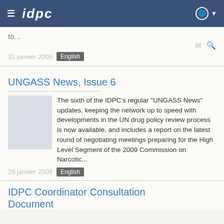IDPC
to...
31 janvier 2009 English
UNGASS News, Issue 6
The sixth of the IDPC's regular "UNGASS News" updates, keeping the network up to speed with developments in the UN drug policy review process is now available, and includes a report on the latest round of negotiating meetings preparing for the High Level Segment of the 2009 Commission on Narcotic...
29 janvier 2009 English
IDPC Coordinator Consultation Document